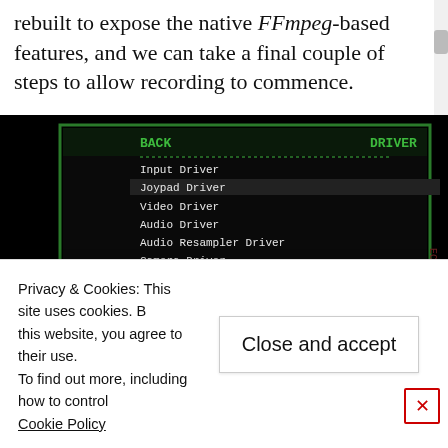rebuilt to expose the native FFmpeg-based features, and we can take a final couple of steps to allow recording to commence.
[Figure (screenshot): Screenshot of RetroArch Driver settings menu showing Input Driver: udev, Joypad Driver: udev, Video Driver: gl, Audio Driver: alsathread, Audio Resampler Driver: sinc, Camera Driver: null, Location Driver: null, Menu Driver: rgui, Record Driver: ffmpeg (highlighted in green). Behind a semi-transparent overlay of a racing game.]
Privacy & Cookies: This site uses cookies. By continuing to use this website, you agree to their use.
To find out more, including how to control cookies, see here:
Cookie Policy